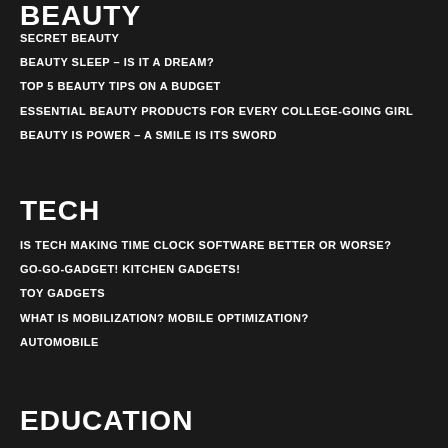BEAUTY
SECRET BEAUTY
BEAUTY SLEEP – IS IT A DREAM?
TOP 5 BEAUTY TIPS ON A BUDGET
ESSENTIAL BEAUTY PRODUCTS FOR EVERY COLLEGE-GOING GIRL
BEAUTY IS POWER – A SMILE IS ITS SWORD
TECH
IS TECH MAKING TIME CLOCK SOFTWARE BETTER OR WORSE?
GO-GO-GADGET! KITCHEN GADGETS!
TOY GADGETS
WHAT IS MOBILIZATION? MOBILE OPTIMIZATION?
AUTOMOBILE
EDUCATION